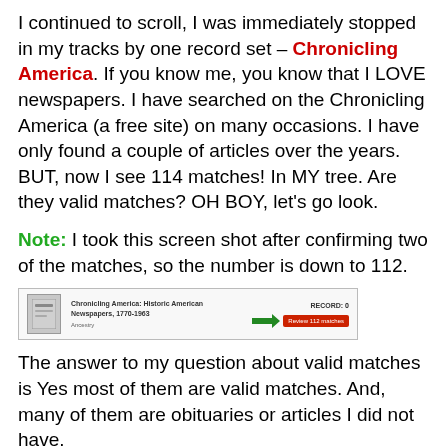I continued to scroll, I was immediately stopped in my tracks by one record set – Chronicling America.  If you know me, you know that I LOVE newspapers.  I have searched on the Chronicling America (a free site) on many occasions.  I have only found a couple of articles over the years.  BUT, now I see 114 matches!  In MY tree.  Are they valid matches?  OH BOY, let's go look.
Note:  I took this screen shot after confirming two of the matches, so the number is down to 112.
[Figure (screenshot): Screenshot of a Chronicling America record entry from an Ancestry-like interface, showing a thumbnail icon, title text, a green arrow, and a red button labeled 'Review 112 matches'.]
The answer to my question about valid matches is Yes most of them are valid matches.  And, many of them are obituaries or articles I did not have.
I'm so happy that the $125 I spent on that